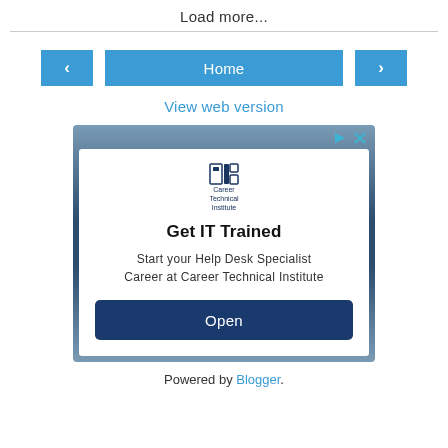Load more...
Home
View web version
[Figure (screenshot): Advertisement for Career Technical Institute. Shows CTI logo, headline 'Get IT Trained', body text 'Start your Help Desk Specialist Career at Career Technical Institute', and a dark blue 'Open' button. Framed with a dark navy/gray gradient border.]
Powered by Blogger.